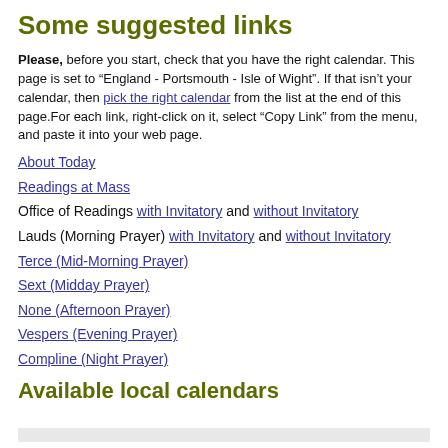Some suggested links
Please, before you start, check that you have the right calendar. This page is set to “England - Portsmouth - Isle of Wight”. If that isn’t your calendar, then pick the right calendar from the list at the end of this page.For each link, right-click on it, select “Copy Link” from the menu, and paste it into your web page.
About Today
Readings at Mass
Office of Readings with Invitatory and without Invitatory
Lauds (Morning Prayer) with Invitatory and without Invitatory
Terce (Mid-Morning Prayer)
Sext (Midday Prayer)
None (Afternoon Prayer)
Vespers (Evening Prayer)
Compline (Night Prayer)
Available local calendars